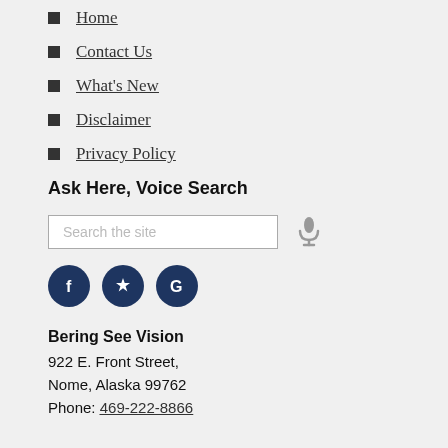Home
Contact Us
What's New
Disclaimer
Privacy Policy
Ask Here, Voice Search
[Figure (infographic): Search input box with placeholder 'Search the site' and a microphone icon for voice search]
[Figure (infographic): Social media icon buttons: Facebook (f), Yelp (star/flower), Google (G)]
Bering See Vision
922 E. Front Street,
Nome, Alaska 99762
Phone: 469-222-8866